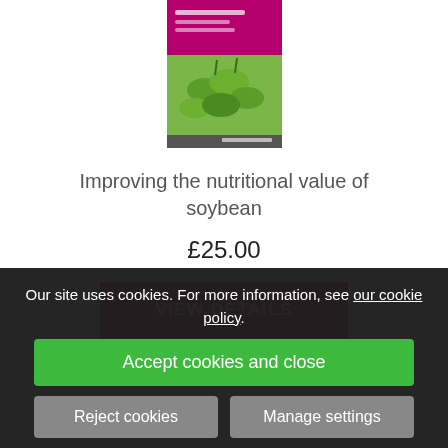[Figure (photo): Book cover for 'Improving the nutritional value of soybean' with a pink/magenta top section and green soybeans image]
Improving the nutritional value of soybean
£25.00
VIEW DETAILS
Our site uses cookies. For more information, see our cookie policy.
Accept cookies and close
Reject cookies
Manage settings